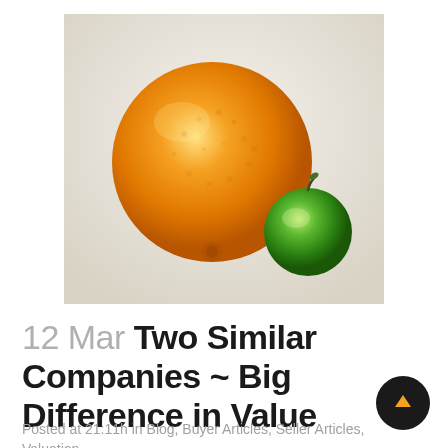[Figure (photo): Photo of a large orange and a small green apple/lime side by side on a white/light grey surface, illustrating size and comparison contrast.]
12 Mar Two Similar Companies ~ Big Difference in Value
Posted at 21:11h in Blog, Buyer Articles, Seller Articles, Valuation